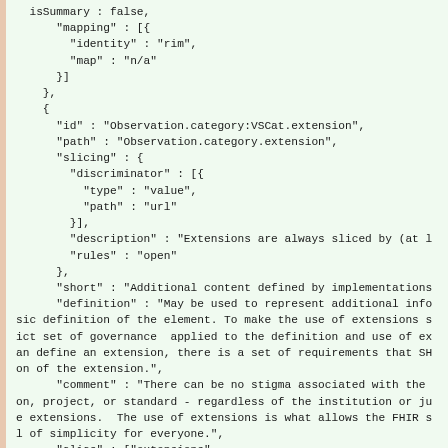JSON/FHIR StructureDefinition code block showing mapping, slicing, and definition fields for Observation.category:VSCat.extension